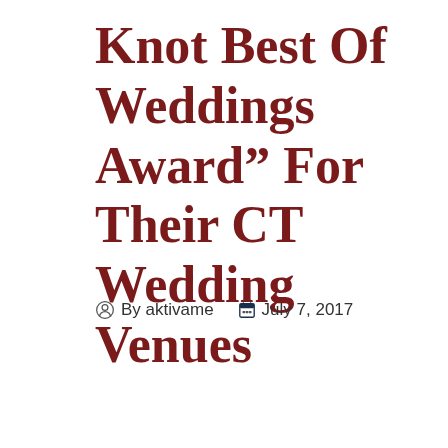Knot Best Of Weddings Award” For Their CT Wedding Venues
By aktivame  July 7, 2017